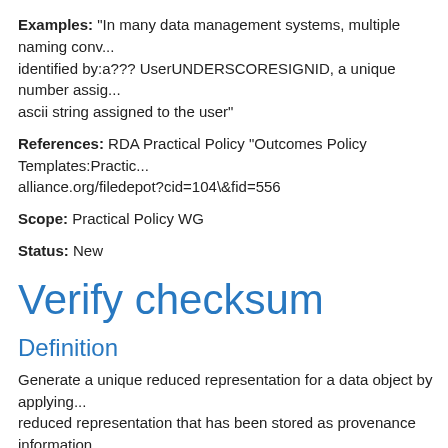Examples: "In many data management systems, multiple naming conv... identified by:a??? UserUNDERSCORESIGNID, a unique number assig... ascii string assigned to the user"
References: RDA Practical Policy "Outcomes Policy Templates:Practic... alliance.org/filedepot?cid=104\&fid=556
Scope: Practical Policy WG
Status: New
Verify checksum
Definition
Generate a unique reduced representation for a data object by applying... reduced representation that has been stored as provenance information... Explanation: Related term a??? data representation, Provenance \& a
Examples: Examples include a checksum, a hash, a digital signature,
Scope: RDA Term Collection Core
Status: New